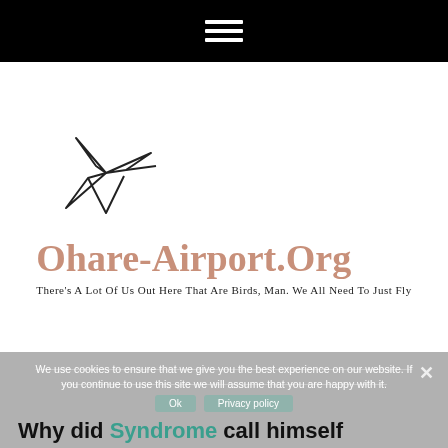≡ (hamburger menu icon)
[Figure (logo): Abstract bird/arrow logo in black line art for Ohare-Airport.Org website]
Ohare-Airport.Org
There's A Lot Of Us Out Here That Are Birds, Man. We All Need To Just Fly
We use cookies to ensure that we give you the best experience on our website. If you continue to use this site we will assume that you are happy with it.
Why did Syndrome call himself Syndrome?